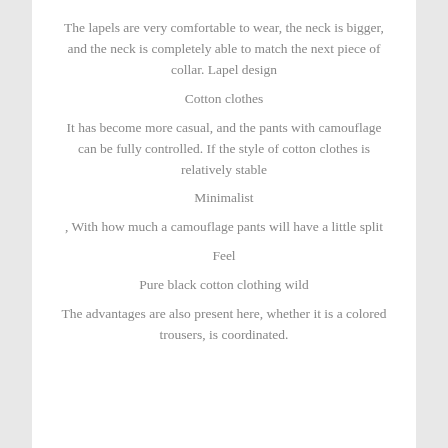The lapels are very comfortable to wear, the neck is bigger, and the neck is completely able to match the next piece of collar. Lapel design
Cotton clothes
It has become more casual, and the pants with camouflage can be fully controlled. If the style of cotton clothes is relatively stable
Minimalist
, With how much a camouflage pants will have a little split
Feel
Pure black cotton clothing wild
The advantages are also present here, whether it is a colored trousers, is coordinated.